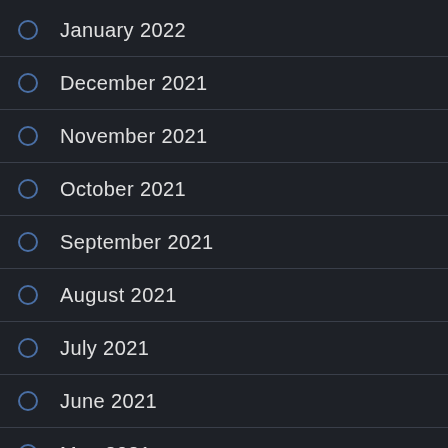January 2022
December 2021
November 2021
October 2021
September 2021
August 2021
July 2021
June 2021
May 2021